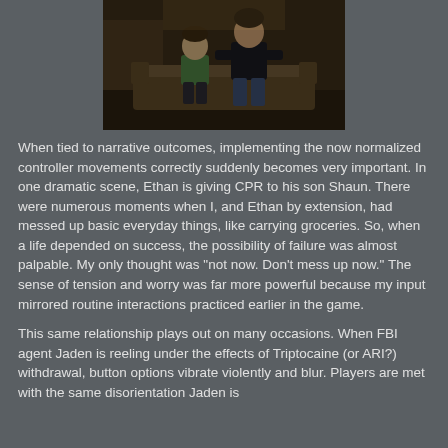[Figure (screenshot): A dark video game screenshot showing two characters seated on a couch in a dimly lit room. One character appears smaller (possibly a child) in a green shirt, and the other is a taller adult in dark clothing. The room has brown/orange tones suggesting a living room setting.]
When tied to narrative outcomes, implementing the now normalized controller movements correctly suddenly becomes very important. In one dramatic scene, Ethan is giving CPR to his son Shaun. There were numerous moments when I, and Ethan by extension, had messed up basic everyday things, like carrying groceries. So, when a life depended on success, the possibility of failure was almost palpable. My only thought was "not now. Don't mess up now." The sense of tension and worry was far more powerful because my input mirrored routine interactions practiced earlier in the game.
This same relationship plays out on many occasions. When FBI agent Jaden is reeling under the effects of Triptocaine (or ARI?) withdrawal, button options vibrate violently and blur. Players are met with the same disorientation Jaden is